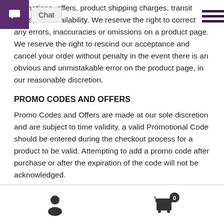...or omissions that may relate to product descriptions, promotions, offers, product shipping charges, transit times, and availability. We reserve the right to correct any errors, inaccuracies or omissions on a product page. We reserve the right to rescind our acceptance and cancel your order without penalty in the event there is an obvious and unmistakable error on the product page, in our reasonable discretion.
PROMO CODES AND OFFERS
Promo Codes and Offers are made at our sole discretion and are subject to time validity, a valid Promotional Code should be entered during the checkout process for a product to be valid. Attempting to add a promo code after purchase or after the expiration of the code will not be acknowledged.
AGE OF CONSENT